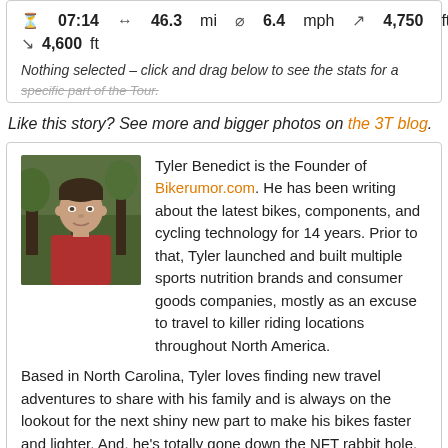07:14  ↔  46.3 mi  ⊘  6.4 mph  ↗  4,750 ft
↘  4,600 ft
Nothing selected – click and drag below to see the stats for a specific part of the Tour.
Like this story? See more and bigger photos on the 3T blog.
[Figure (photo): Headshot of Tyler Benedict wearing a red shirt, outdoors with trees in the background]
Tyler Benedict is the Founder of Bikerumor.com. He has been writing about the latest bikes, components, and cycling technology for 14 years. Prior to that, Tyler launched and built multiple sports nutrition brands and consumer goods companies, mostly as an excuse to travel to killer riding locations throughout North America.

Based in North Carolina, Tyler loves finding new travel adventures to share with his family and is always on the lookout for the next shiny new part to make his bikes faster and lighter. And, he's totally gone down the NFT rabbit hole.